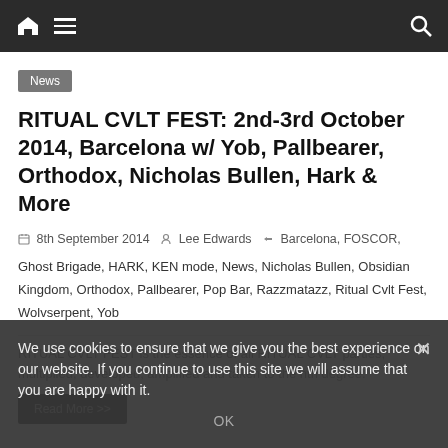Navigation bar with home icon, hamburger menu, and search icon
News
RITUAL CVLT FEST: 2nd-3rd October 2014, Barcelona w/ Yob, Pallbearer, Orthodox, Nicholas Bullen, Hark & More
8th September 2014  Lee Edwards  Barcelona, FOSCOR, Ghost Brigade, HARK, KEN mode, News, Nicholas Bullen, Obsidian Kingdom, Orthodox, Pallbearer, Pop Bar, Razzmatazz, Ritual Cvlt Fest, Wolvserpent, Yob
RITUAL CVLT FEST is the essence of all RITUAL CVLT parties, multiplied, developed, amplified and taken to the nth degree.
We use cookies to ensure that we give you the best experience on our website. If you continue to use this site we will assume that you are happy with it.
OK